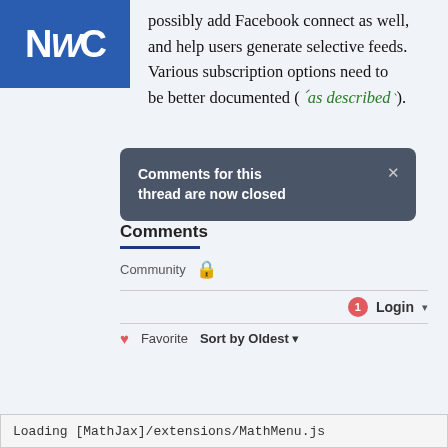[Figure (logo): NWC logo in white text on blue square background]
possibly add Facebook connect as well, and help users generate selective feeds. Various subscription options need to be better documented (as described).
[Figure (screenshot): Dark tooltip/notification box: 'Comments for this thread are now closed' with an X close button]
Comments
Community 🔒
1 Login ▾
♡ Favorite  Sort by Oldest ▾
Loading [MathJax]/extensions/MathMenu.js